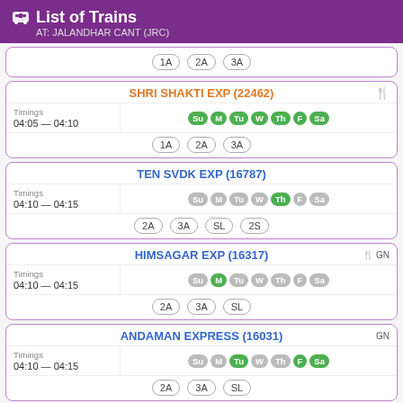List of Trains AT: JALANDHAR CANT (JRC)
| Train | Timings | Days | Classes |
| --- | --- | --- | --- |
| (partial card) |  |  | 1A 2A 3A |
| SHRI SHAKTI EXP (22462) | 04:05 — 04:10 | Su M Tu W Th F Sa | 1A 2A 3A |
| TEN SVDK EXP (16787) | 04:10 — 04:15 | Th only | 2A 3A SL 2S |
| HIMSAGAR EXP (16317) | 04:10 — 04:15 | M only | 2A 3A SL |
| ANDAMAN EXPRESS (16031) | 04:10 — 04:15 | Tu F Sa | 2A 3A SL |
| JBP SVDK EXP (11449) | 04:10 — 04:15 | W only | 2A 3A SL 2S |